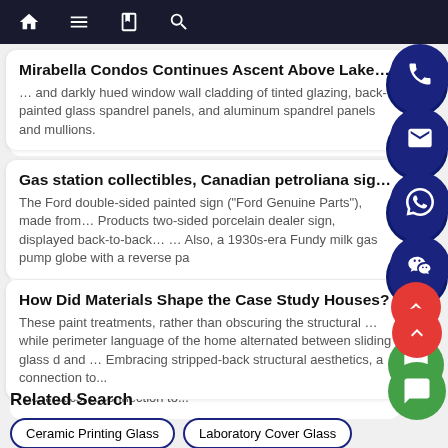Navigation bar with home, menu, book, and search icons
Mirabella Condos Continues Ascent Above Lake Shore …
… and darkly hued window wall cladding of tinted glazing, back-painted glass spandrel panels, and aluminum spandrel panels and mullions.
Gas station collectibles, Canadian petroliana signs …
The Ford double-sided painted sign ("Ford Genuine Parts"), made from… Products two-sided porcelain dealer sign, displayed back-to-back… … Also, a 1930s-era Fundy milk gas pump globe with a reverse pa
How Did Materials Shape the Case Study Houses?
These paint treatments, rather than obscuring the structural … while perimeter language of the home alternated between sliding glass d and … Embracing stripped-back structural aesthetics, a connection to...
Related Search
Ceramic Printing Glass
Laboratory Cover Glass
Security Glass
Building Construction Glass Panel